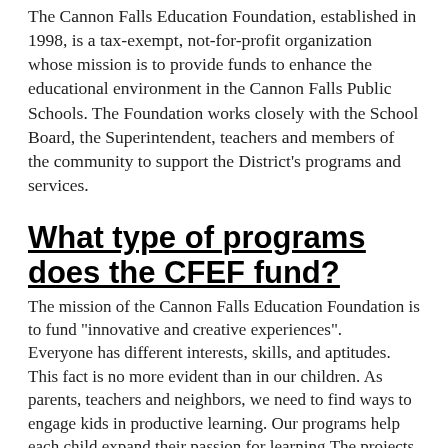The Cannon Falls Education Foundation, established in 1998, is a tax-exempt, not-for-profit organization whose mission is to provide funds to enhance the educational environment in the Cannon Falls Public Schools. The Foundation works closely with the School Board, the Superintendent, teachers and members of the community to support the District's programs and services.
What type of programs does the CFEF fund?
The mission of the Cannon Falls Education Foundation is to fund "innovative and creative experiences". Everyone has different interests, skills, and aptitudes. This fact is no more evident than in our children.  As parents, teachers and neighbors, we need to find ways to engage kids in productive learning.  Our programs help each child expand their passion for learning.The projects we fund are meant to pique the interest of our students and develop well-rounded young adults. Here are some examples of projects aimed at these goals: Music:  Steel Drums and Keyboards